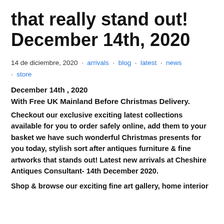that really stand out! December 14th, 2020
14 de diciembre, 2020 · arrivals · blog · latest · news · store
December 14th , 2020
With Free UK Mainland Before Christmas Delivery.
Checkout our exclusive exciting latest collections available for you to order safely online, add them to your basket we have such wonderful Christmas presents for you today, stylish sort after antiques furniture & fine artworks that stands out! Latest new arrivals at Cheshire Antiques Consultant- 14th December 2020.
Shop & browse our exciting fine art gallery, home interior